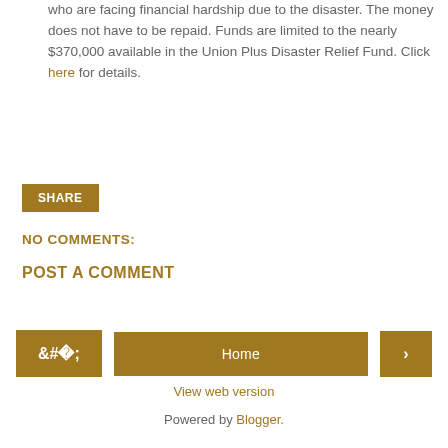who are facing financial hardship due to the disaster. The money does not have to be repaid. Funds are limited to the nearly $370,000 available in the Union Plus Disaster Relief Fund. Click here for details.
SHARE
NO COMMENTS:
POST A COMMENT
< Home > View web version Powered by Blogger.